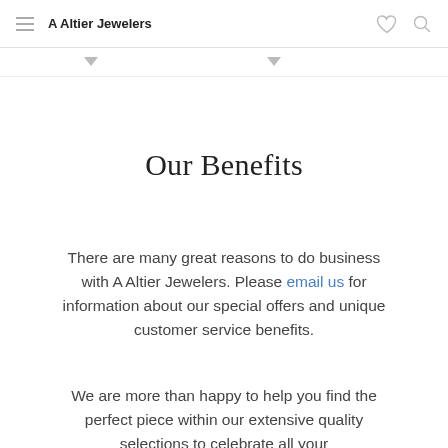A Altier Jewelers
Our Benefits
There are many great reasons to do business with A Altier Jewelers. Please email us for information about our special offers and unique customer service benefits.
We are more than happy to help you find the perfect piece within our extensive quality selections to celebrate all your